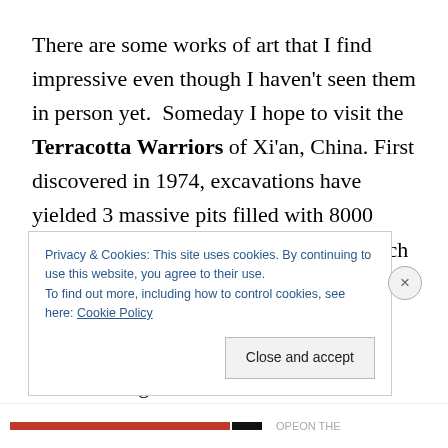There are some works of art that I find impressive even though I haven't seen them in person yet.  Someday I hope to visit the Terracotta Warriors of Xi'an, China.  First discovered in 1974, excavations have yielded 3 massive pits filled with 8000 pottery soldiers, horses and chariots.  Each figure is about six feet tall, 600+ lbs and had a highly detailed costume differentiating unique classes of soldiers, archers and generals.  The scale of the project but also the individuality of each figure is just
Privacy & Cookies: This site uses cookies. By continuing to use this website, you agree to their use.
To find out more, including how to control cookies, see here: Cookie Policy
Close and accept